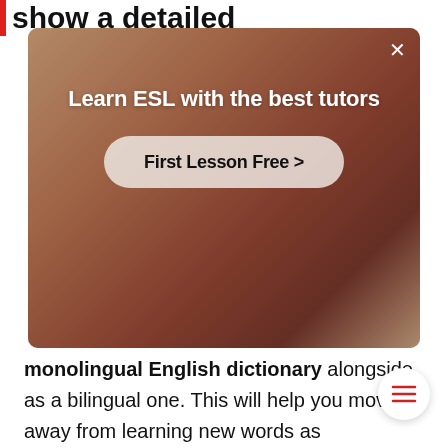show a detailed
[Figure (screenshot): Advertisement overlay showing a person in a red shirt with text 'Learn ESL with the best tutors' and a 'First Lesson Free >' button, with a close (×) button in top right corner.]
monolingual English dictionary alongside as a bilingual one. This will help you move away from learning new words as translations, and broaden your understanding of the English language in the target language. Of course, the type of dictionary you choose to use will likely be different to the of other English learners, as your choice will de on your needs and goals. So here is a guide to